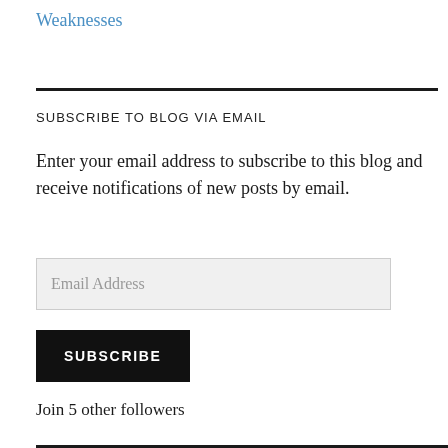Weaknesses
SUBSCRIBE TO BLOG VIA EMAIL
Enter your email address to subscribe to this blog and receive notifications of new posts by email.
Email Address
SUBSCRIBE
Join 5 other followers